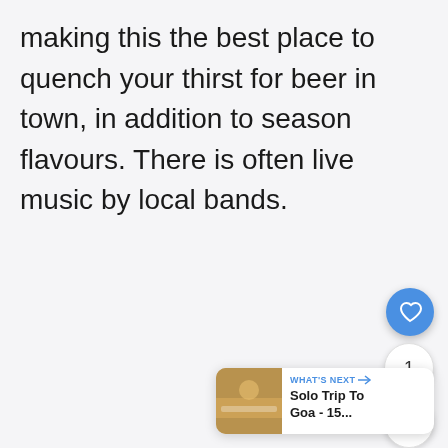making this the best place to quench your thirst for beer in town, in addition to season flavours. There is often live music by local bands.
[Figure (infographic): UI widget overlay with heart (like) button in blue circle, share button in white circle, count '1', and a 'What's Next' card showing 'Solo Trip To Goa - 15...' with a thumbnail image]